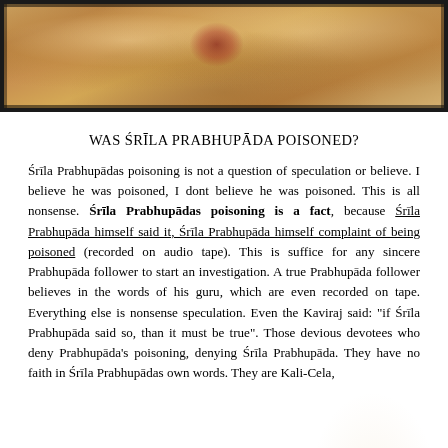[Figure (photo): Photograph of Śrīla Prabhupāda with devotees, saffron robes visible, garland of flowers, outdoor setting with wooden elements]
WAS ŚRĪLA PRABHUPĀDA POISONED?
Śrīla Prabhupādas poisoning is not a question of speculation or believe. I believe he was poisoned, I dont believe he was poisoned. This is all nonsense. Śrīla Prabhupādas poisoning is a fact, because Śrīla Prabhupāda himself said it, Śrīla Prabhupāda himself complaint of being poisoned (recorded on audio tape). This is suffice for any sincere Prabhupāda follower to start an investigation. A true Prabhupāda follower believes in the words of his guru, which are even recorded on tape. Everything else is nonsense speculation. Even the Kaviraj said: "if Śrīla Prabhupāda said so, than it must be true". Those devious devotees who deny Prabhupāda's poisoning, denying Śrīla Prabhupāda. They have no faith in Śrīla Prabhupādas own words. They are Kali-Cela,